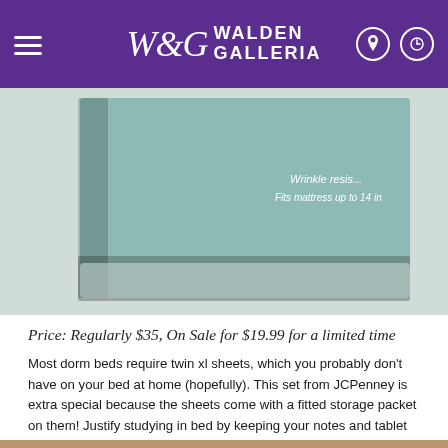Walden Galleria
[Figure (photo): Product photo showing a teal/green packaged sheet set in a clear plastic bag, partially visible, with text on the packaging reading 'Wrinkle resistant' and 'Fits mattress up to 14 in']
Price: Regularly $35, On Sale for $19.99 for a limited time
Most dorm beds require twin xl sheets, which you probably don't have on your bed at home (hopefully). This set from JCPenney is extra special because the sheets come with a fitted storage packet on them! Justify studying in bed by keeping your notes and tablet in there!
4. Lace Bottom Sweatshirt – Aerie